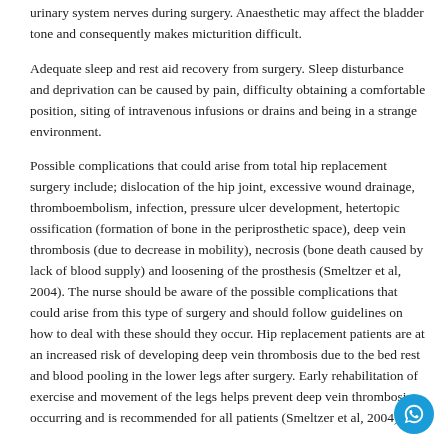has recovered from the anaesthetic and there has been no damage to the urinary system nerves during surgery. Anaesthetic may affect the bladder tone and consequently makes micturition difficult.
Adequate sleep and rest aid recovery from surgery. Sleep disturbance and deprivation can be caused by pain, difficulty obtaining a comfortable position, siting of intravenous infusions or drains and being in a strange environment.
Possible complications that could arise from total hip replacement surgery include; dislocation of the hip joint, excessive wound drainage, thromboembolism, infection, pressure ulcer development, hetertopic ossification (formation of bone in the periprosthetic space), deep vein thrombosis (due to decrease in mobility), necrosis (bone death caused by lack of blood supply) and loosening of the prosthesis (Smeltzer et al, 2004). The nurse should be aware of the possible complications that could arise from this type of surgery and should follow guidelines on how to deal with these should they occur. Hip replacement patients are at an increased risk of developing deep vein thrombosis due to the bed rest and blood pooling in the lower legs after surgery. Early rehabilitation of exercise and movement of the legs helps prevent deep vein thrombosis occurring and is recommended for all patients (Smeltzer et al, 2004).